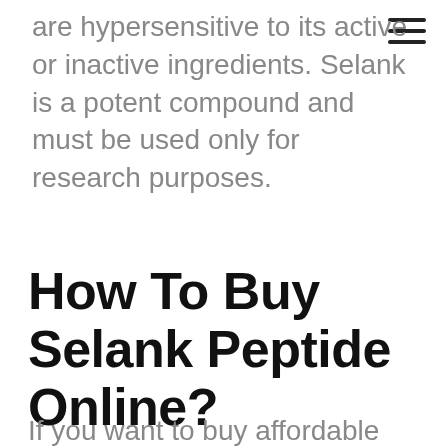are hypersensitive to its active or inactive ingredients. Selank is a potent compound and must be used only for research purposes.
How To Buy Selank Peptide Online?
If you want to buy affordable peptides